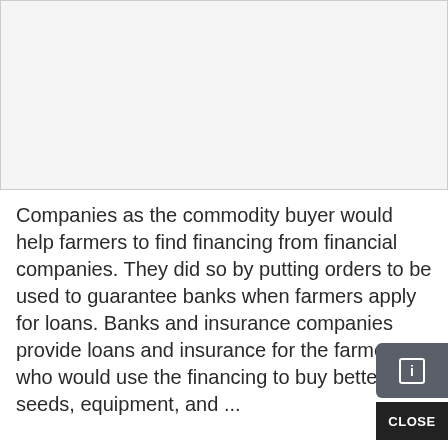[Figure (other): Gray placeholder image area at the top of the page]
Companies as the commodity buyer would help farmers to find financing from financial companies. They did so by putting orders to be used to guarantee banks when farmers apply for loans. Banks and insurance companies provide loans and insurance for the farmers who would use the financing to buy better seeds, equipment, and ...